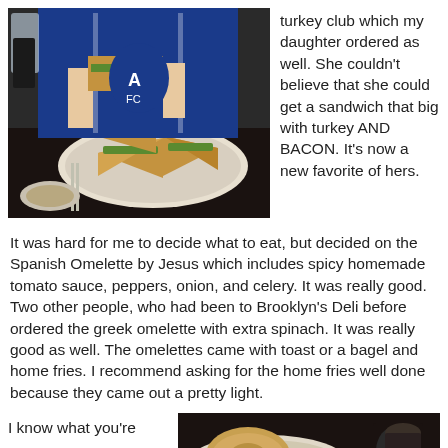[Figure (photo): Child in blue jersey eating a large club sandwich at a restaurant table with a plate of triangle-cut sandwiches in front]
turkey club which my daughter ordered as well. She couldn't believe that she could get a sandwich that big with turkey AND BACON.  It's now a new favorite of hers.
It was hard for me to decide what to eat, but decided on the Spanish Omelette by Jesus which includes spicy homemade tomato sauce, peppers, onion, and celery. It was really good. Two other people, who had been to Brooklyn's Deli before ordered the greek omelette with extra spinach. It was really good as well. The omelettes came with toast or a bagel and home fries. I recommend asking for the home fries well done because they came out a pretty light.
I know what you're
[Figure (photo): A plate with omelette, toast/bagel and home fries at the restaurant]